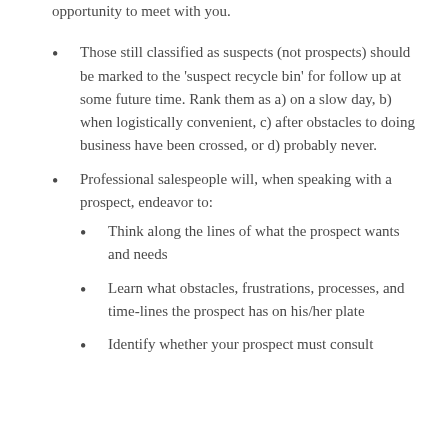opportunity to meet with you.
Those still classified as suspects (not prospects) should be marked to the ‘suspect recycle bin’ for follow up at some future time. Rank them as a) on a slow day, b) when logistically convenient, c) after obstacles to doing business have been crossed, or d) probably never.
Professional salespeople will, when speaking with a prospect, endeavor to:
Think along the lines of what the prospect wants and needs
Learn what obstacles, frustrations, processes, and time-lines the prospect has on his/her plate
Identify whether your prospect must consult